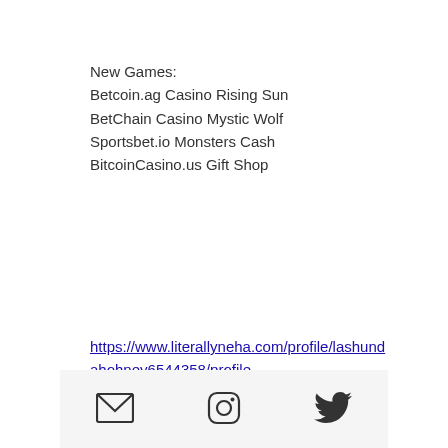New Games:
Betcoin.ag Casino Rising Sun
BetChain Casino Mystic Wolf
Sportsbet.io Monsters Cash
BitcoinCasino.us Gift Shop
https://www.literallyneha.com/profile/lashundahohney6544358/profile
https://cy.alimanzour.com/profile/wilfordtortora18431789/profile
https://www.bretjenseninvests.com/profile/sherrypamplin7342874/profile
https://www.vocalfreda.com/profile/winfordhakey16371908/profile
[email icon] [instagram icon] [twitter icon]